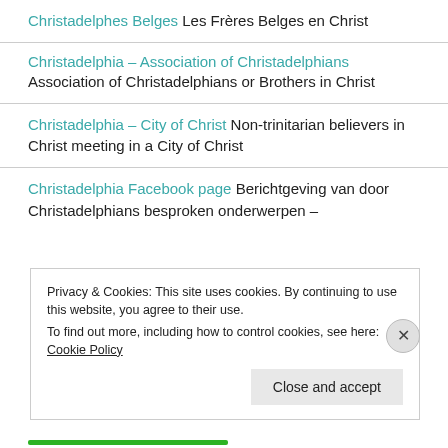Christadelphes Belges Les Frères Belges en Christ
Christadelphia – Association of Christadelphians Association of Christadelphians or Brothers in Christ
Christadelphia – City of Christ Non-trinitarian believers in Christ meeting in a City of Christ
Christadelphia Facebook page Berichtgeving van door Christadelphians besproken onderwerpen –
Privacy & Cookies: This site uses cookies. By continuing to use this website, you agree to their use. To find out more, including how to control cookies, see here: Cookie Policy
Close and accept